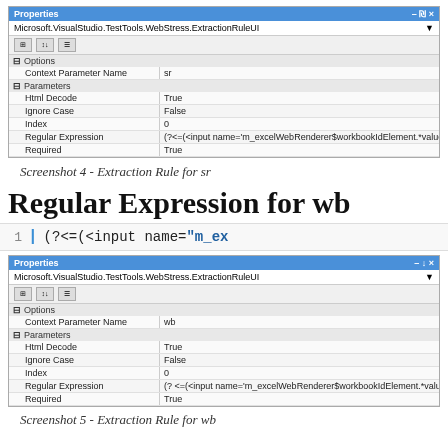[Figure (screenshot): Visual Studio Properties panel showing Extraction Rule for sr with fields: Context Parameter Name=sr, Html Decode=True, Ignore Case=False, Index=0, Regular Expression=(?<=(<input name='m_excelWebRenderer$workbookIdElement.*value=')[d++.,)(][^~])*, Required=True]
Screenshot 4 - Extraction Rule for sr
Regular Expression for wb
[Figure (screenshot): Code editor showing line 1 with regex: (?<=(<?input name="m_ex...]
[Figure (screenshot): Visual Studio Properties panel showing Extraction Rule for wb with fields: Context Parameter Name=wb, Html Decode=True, Ignore Case=False, Index=0, Regular Expression=(?<=(<input name='m_excelWebRenderer$workbookIdElement.*value=')(d+), .*?[=]d+,t.|)[^~]*[P), Required=True]
Screenshot 5 - Extraction Rule for wb